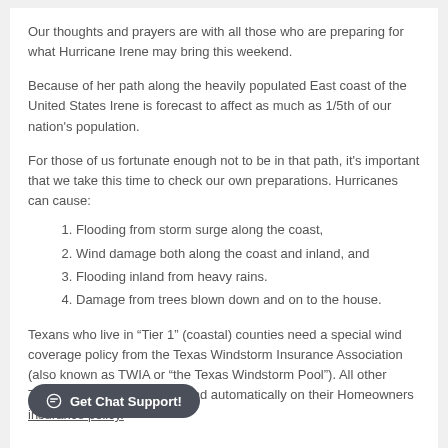Our thoughts and prayers are with all those who are preparing for what Hurricane Irene may bring this weekend.
Because of her path along the heavily populated East coast of the United States Irene is forecast to affect as much as 1/5th of our nation's population.
For those of us fortunate enough not to be in that path, it's important that we take this time to check our own preparations. Hurricanes can cause:
Flooding from storm surge along the coast,
Wind damage both along the coast and inland, and
Flooding inland from heavy rains.
Damage from trees blown down and on to the house.
Texans who live in “Tier 1” (coastal) counties need a special wind coverage policy from the Texas Windstorm Insurance Association (also known as TWIA or “the Texas Windstorm Pool”). All other Texans have coverage for wind automatically on their Homeowners insurance policy.